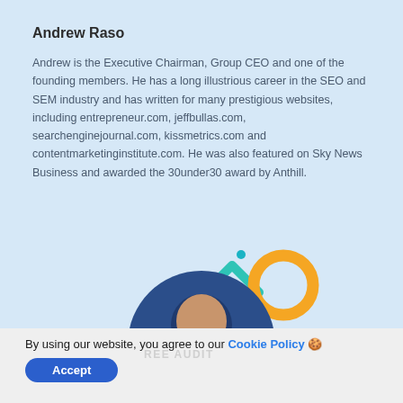Andrew Raso
Andrew is the Executive Chairman, Group CEO and one of the founding members. He has a long illustrious career in the SEO and SEM industry and has written for many prestigious websites, including entrepreneur.com, jeffbullas.com, searchenginejournal.com, kissmetrics.com and contentmarketinginstitute.com. He was also featured on Sky News Business and awarded the 30under30 award by Anthill.
[Figure (photo): Circular profile photo of Andrew Raso (man with beard, smiling, wearing dark shirt) with a logo mark (teal arrow and yellow/orange ring) partially visible above the photo circle, on a light blue background.]
By using our website, you agree to our Cookie Policy 🍪
Accept